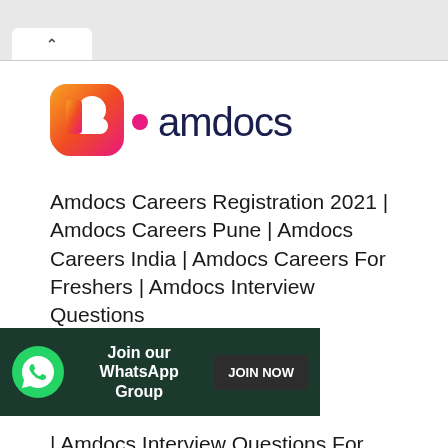[Figure (logo): Amdocs logo with orange-pink gradient letter 'a' and pink dot, followed by 'amdocs' in dark navy text]
Amdocs Careers Registration 2021 | Amdocs Careers Pune | Amdocs Careers India | Amdocs Careers For Freshers | Amdocs Interview Questions | Amdocs Interview Questions | Amdocs Interview Questions For Freshers | Amdocs Interview Process Amdocs Careers Registration 2021: Amdocs is a multinational corporation that was founded in Israel and currently headquartered in Chesterfield
[Figure (infographic): WhatsApp group join banner with green WhatsApp phone icon, text 'Join our WhatsApp Group', and a dark 'JOIN NOW' button]
Amdocs Interview Process Amdocs Careers Registration 2021: Amdocs is a multinational corporation that was founded in Israel and currently headquartered in Chesterfield